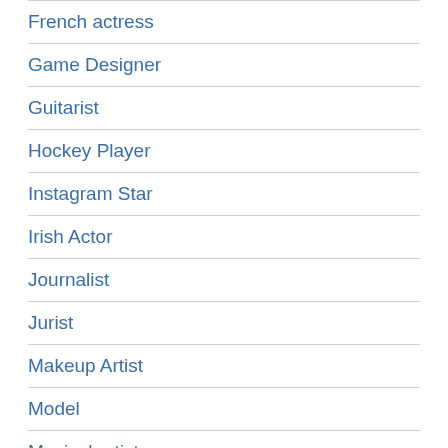French actress
Game Designer
Guitarist
Hockey Player
Instagram Star
Irish Actor
Journalist
Jurist
Makeup Artist
Model
Musical artist
Musician
Novelist
Painter
Performer